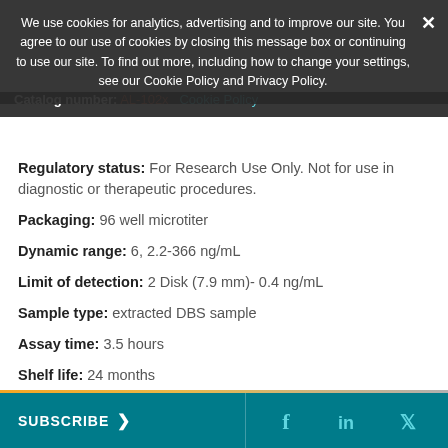We use cookies for analytics, advertising and to improve our site. You agree to our use of cookies by closing this message box or continuing to use our site. To find out more, including how to change your settings, see our Cookie Policy and Privacy Policy.
Catalog number: AL-102x   Cookie Policy
Regulatory status: For Research Use Only. Not for use in diagnostic or therapeutic procedures.
Packaging: 96 well microtiter
Dynamic range: 6, 2.2-366 ng/mL
Limit of detection: 2 Disk (7.9 mm)- 0.4 ng/mL
Sample type: extracted DBS sample
Assay time: 3.5 hours
Shelf life: 24 months
Availability: Worldwide
COMPARE
REQUEST INFORMATION
SUBSCRIBE >